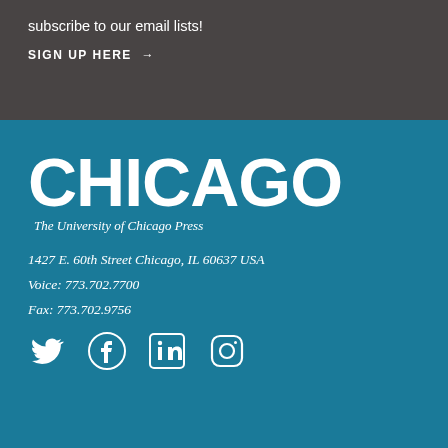subscribe to our email lists!
SIGN UP HERE →
CHICAGO
The University of Chicago Press
1427 E. 60th Street Chicago, IL 60637 USA
Voice: 773.702.7700
Fax: 773.702.9756
[Figure (logo): Social media icons: Twitter (bird), Facebook (f), LinkedIn (in), Instagram (camera)]